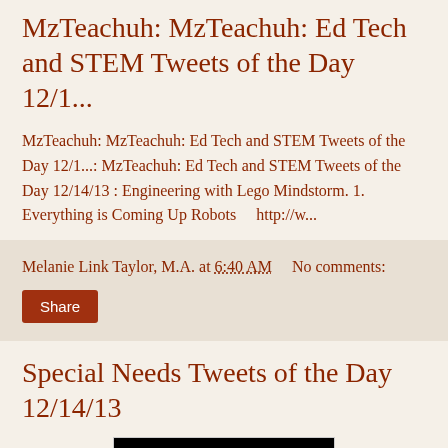MzTeachuh: MzTeachuh: Ed Tech and STEM Tweets of the Day 12/1...
MzTeachuh: MzTeachuh: Ed Tech and STEM Tweets of the Day 12/1...: MzTeachuh: Ed Tech and STEM Tweets of the Day 12/14/13 : Engineering with Lego Mindstorm. 1. Everything is Coming Up Robots    http://w...
Melanie Link Taylor, M.A. at 6:40 AM    No comments:
Share
Special Needs Tweets of the Day 12/14/13
[Figure (photo): Photo of orange-handled scissors cutting green dollar sign letters on a black background]